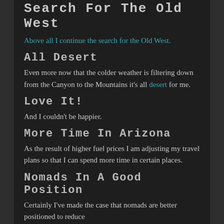Search For The Old West
Above all I continue the search for the Old West.
All Desert
Even more now that the colder weather is filtering down from the Canyon to the Mountains it's all desert for me.
Love It!
And I couldn't be happier.
More Time In Arizona
As the result of higher fuel prices I am adjusting my travel plans so that I can spend more time in certain places.
Nomads In A Good Position
Certainly I've made the case that nomads are better positioned to reduce